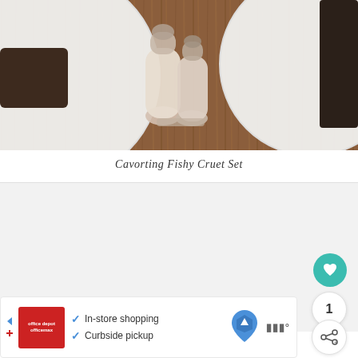[Figure (photo): Overhead photo of a wooden table with white plates and a cruet set (salt and pepper shakers) in the center]
Cavorting Fishy Cruet Set
[Figure (screenshot): Product carousel area with light gray background and three navigation dots]
[Figure (infographic): Advertisement banner showing Office Depot logo with text: In-store shopping, Curbside pickup, a map/navigation icon, and a brand logo on the right]